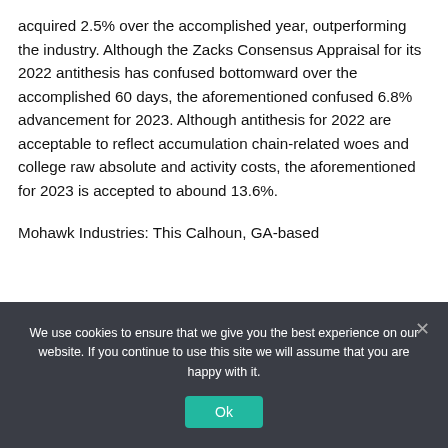acquired 2.5% over the accomplished year, outperforming the industry. Although the Zacks Consensus Appraisal for its 2022 antithesis has confused bottomward over the accomplished 60 days, the aforementioned confused 6.8% advancement for 2023. Although antithesis for 2022 are acceptable to reflect accumulation chain-related woes and college raw absolute and activity costs, the aforementioned for 2023 is accepted to abound 13.6%.
Mohawk Industries: This Calhoun, GA-based
We use cookies to ensure that we give you the best experience on our website. If you continue to use this site we will assume that you are happy with it.